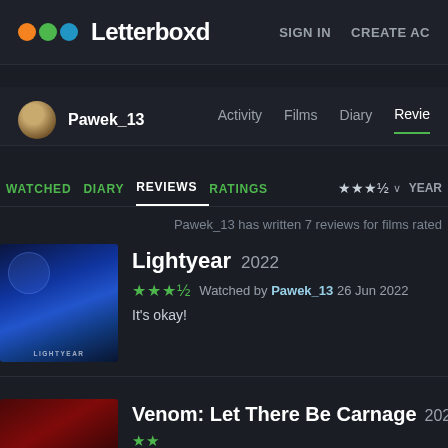Letterboxd   SIGN IN   CREATE AC
Pawek_13   Activity   Films   Diary   Revie
WATCHED   DIARY   REVIEWS   RATINGS   ★★★½ ∨   YEAR
Pawek_13 has written 7 reviews for films rated
Lightyear 2022
★★★½  Watched by Pawek_13  26 Jun 2022
It's okay!
Venom: Let There Be Carnage 202